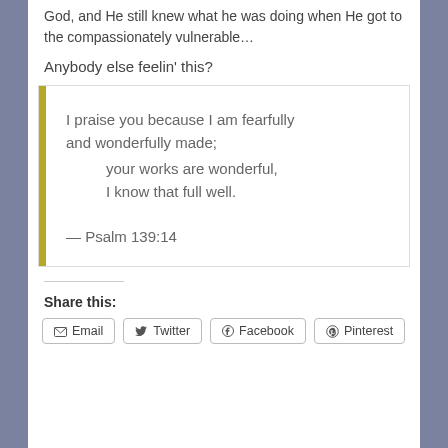God, and He still knew what he was doing when He got to the compassionately vulnerable…
Anybody else feelin' this?
I praise you because I am fearfully and wonderfully made;
    your works are wonderful,
    I know that full well.

— Psalm 139:14
Share this:
Email  Twitter  Facebook  Pinterest